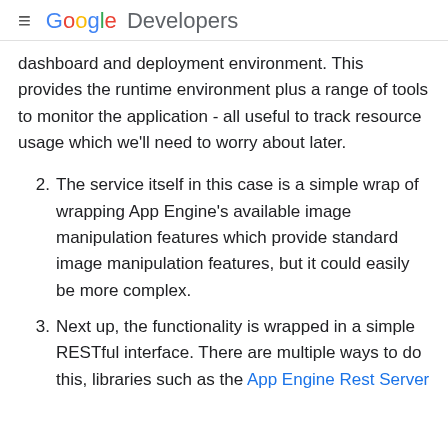≡ Google Developers
dashboard and deployment environment. This provides the runtime environment plus a range of tools to monitor the application - all useful to track resource usage which we'll need to worry about later.
2. The service itself in this case is a simple wrap of wrapping App Engine's available image manipulation features which provide standard image manipulation features, but it could easily be more complex.
3. Next up, the functionality is wrapped in a simple RESTful interface. There are multiple ways to do this, libraries such as the App Engine Rest Server